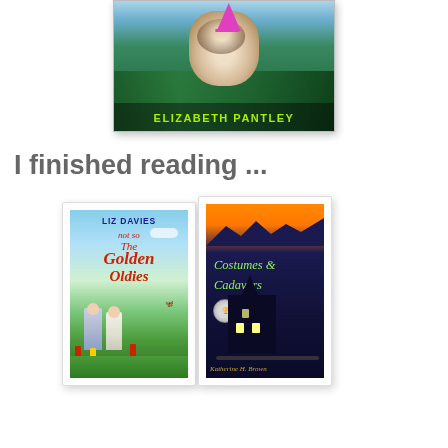[Figure (photo): Book cover featuring a Siamese cat wearing a pink party hat, with author name ELIZABETH PANTLEY in yellow-green text at the bottom]
I finished reading ...
[Figure (photo): Book cover: 'The not so Golden Oldies' by Liz Davies, showing an elderly couple in a colorful meadow with flowers and butterflies]
[Figure (photo): Book cover: 'Costumes & Cadavers' by Katherine H. Brown, dark blue silhouette of a haunted castle against an orange sky]